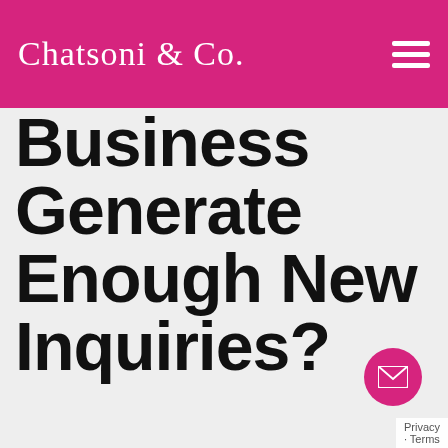Chatsoni & Co.
Business Generate Enough New Inquiries?
Download my free guide to learn how to generate new inquiries while you sleep using a lead generation system to
[Figure (other): Pink circular email contact button with envelope icon]
Privacy · Terms